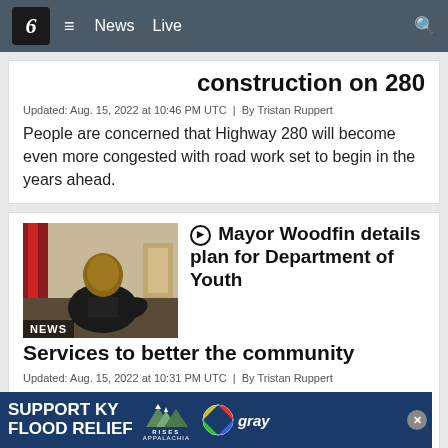6  ≡  News  Live
construction on 280
Updated: Aug. 15, 2022 at 10:46 PM UTC  |  By Tristan Ruppert
People are concerned that Highway 280 will become even more congested with road work set to begin in the years ahead.
[Figure (photo): Photo of a man, labeled NEWS]
Mayor Woodfin details plan for Department of Youth Services to better the community
Updated: Aug. 15, 2022 at 10:31 PM UTC  |  By Tristan Ruppert
The city is changing the Division of Youth Services into a department, and funneling $3.1 million to their community improvement efforts.
[Figure (infographic): SUPPORT KY FLOOD RELIEF advertisement banner with Appalachia Rises and Gray logos]